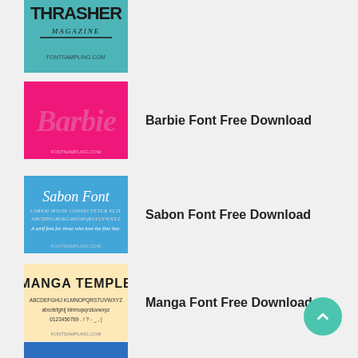[Figure (illustration): Thrasher Magazine font preview on teal background - partially visible at top]
[Figure (illustration): Barbie font preview - pink background with 'Barbie' text in pink script]
Barbie Font Free Download
[Figure (illustration): Sabon Font preview - blue background with 'Sabon Font' text and alphabet samples]
Sabon Font Free Download
[Figure (illustration): Manga Temple font preview - light beige/yellow background with 'MANGA TEMPLE' in bold block letters and alphabet]
Manga Font Free Download
[Figure (illustration): Frozen font preview - blue background with 'FROZEN' in bold icy letters]
Frozen Font Free Download